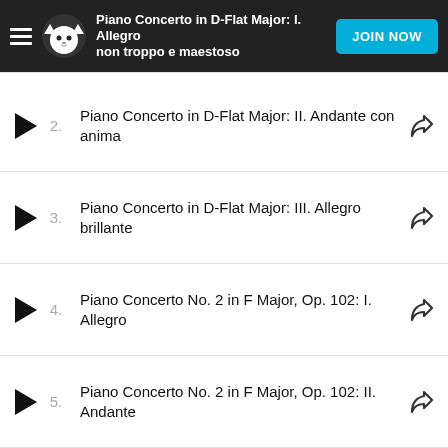Piano Concerto in D-Flat Major: I. Allegro non troppo e maestoso | JOIN NOW
2. Piano Concerto in D-Flat Major: II. Andante con anima
3. Piano Concerto in D-Flat Major: III. Allegro brillante
4. Piano Concerto No. 2 in F Major, Op. 102: I. Allegro
5. Piano Concerto No. 2 in F Major, Op. 102: II. Andante
6. Piano Concerto No. 2 in F Major, Op. 102: III. Attaca - Allegro